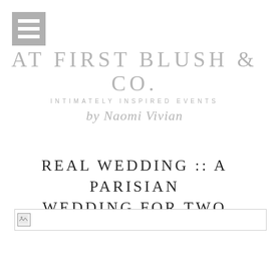[Figure (other): Hamburger menu icon with three white horizontal bars on a grey square background]
[Figure (logo): At First Blush & Co. logo — large serif grey text reading 'AT FIRST BLUSH & CO', subtitle 'INTIMATELY INSPIRED EVENTS', script text 'by Naomi Vivian']
REAL WEDDING :: A PARISIAN WEDDING FOR TWO
[Figure (photo): Broken image placeholder at the bottom of the page]